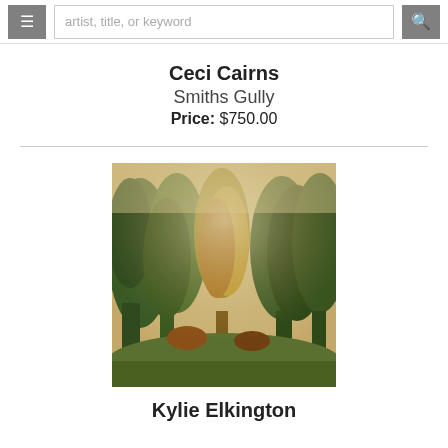≡  artist, title, or keyword  🔍
Ceci Cairns
Smiths Gully
Price: $750.00
[Figure (photo): A painterly landscape showing dense trees with autumn foliage in greens, yellows, and oranges against a hazy warm background.]
Kylie Elkington